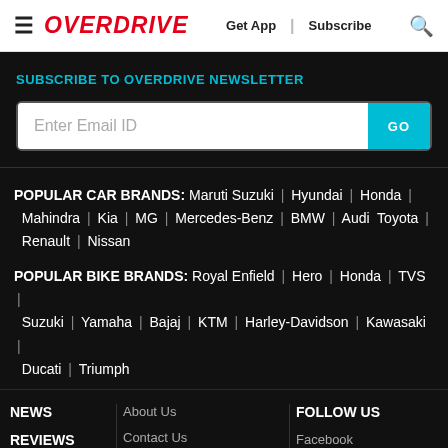≡ OVERDRIVE | Get App | Subscribe 🔍
SUBSCRIBE TO OVERDRIVE NEWSLETTER
Enter Email ID  [GO]
POPULAR CAR BRANDS: Maruti Suzuki | Hyundai | Honda | Mahindra | Kia | MG | Mercedes-Benz | BMW | Audi Toyota | Renault | Nissan
POPULAR BIKE BRANDS: Royal Enfield | Hero | Honda | TVS | Suzuki | Yamaha | Bajaj | KTM | Harley-Davidson | Kawasaki | Ducati | Triumph
NEWS
REVIEWS
FEATURES
OPINIONS
About Us
Contact Us
Privacy Policy
Terms And Conditions
Subscribe
FOLLOW US
Facebook
Twitter
Youtube
Instagram